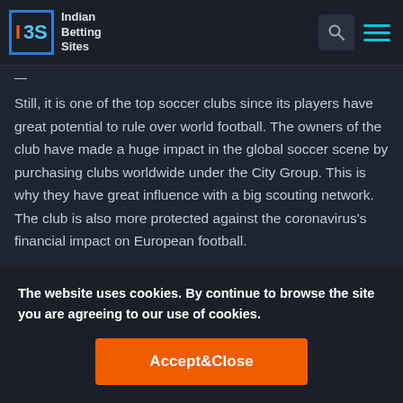Indian Betting Sites
Still, it is one of the top soccer clubs since its players have great potential to rule over world football. The owners of the club have made a huge impact in the global soccer scene by purchasing clubs worldwide under the City Group. This is why they have great influence with a big scouting network. The club is also more protected against the coronavirus's financial impact on European football.
Paris Saint-Germain
PSG has players like Neymar, Mauro Icardi, Kylian Mbappe, Julian
The website uses cookies. By continue to browse the site you are agreeing to our use of cookies.
Accept&Close